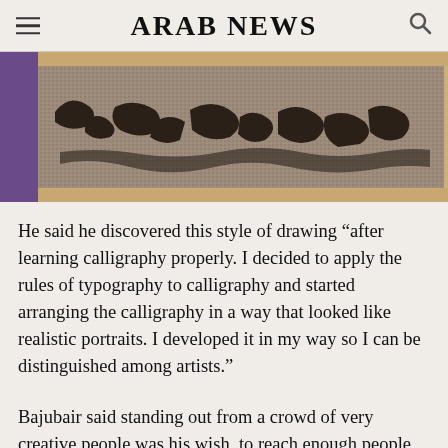ARAB NEWS
[Figure (photo): A calligraphy artwork piece showing Arabic calligraphy arranged in a textured, speckled gray panel with dark carved lettering forms, placed on a wooden surface with a purple-clothed figure partially visible on the left.]
He said he discovered this style of drawing “after learning calligraphy properly. I decided to apply the rules of typography to calligraphy and started arranging the calligraphy in a way that looked like realistic portraits. I developed it in my way so I can be distinguished among artists.”
Bajubair said standing out from a crowd of very creative people was his wish, to reach enough people with his art and become a competitive...